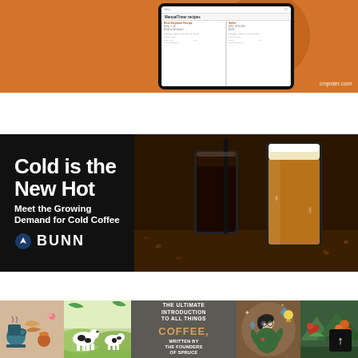[Figure (screenshot): Cropster app interface screenshot on orange/terracotta background with a semi-circle shape, showing recipe comparison UI on a tablet mockup. Domain: cropster.com]
[Figure (photo): BUNN advertisement banner with dark background and cold coffee drinks (iced black coffee and golden nitro cold brew) on right side. Text: 'Cold is the New Hot - Meet the Growing Demand for Cold Coffee' with BUNN logo.]
[Figure (illustration): Coffee book advertisement with illustrated panels: kitchen/bakery items, dairy cows, a woman character, and a coffee farm scene. Text: 'THE ULTIMATE INTRODUCTION TO ALL THINGS COFFEE, WRITTEN BY THE FOUNDERS OF SPRUCE'. Scroll-up arrow button in bottom right.]